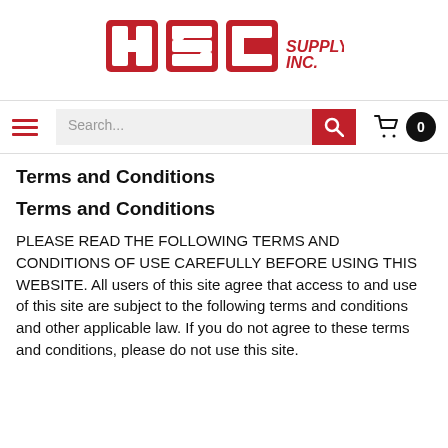[Figure (logo): ASC Supply Inc. logo in red with stylized lettering]
Terms and Conditions
Terms and Conditions
PLEASE READ THE FOLLOWING TERMS AND CONDITIONS OF USE CAREFULLY BEFORE USING THIS WEBSITE. All users of this site agree that access to and use of this site are subject to the following terms and conditions and other applicable law. If you do not agree to these terms and conditions, please do not use this site.